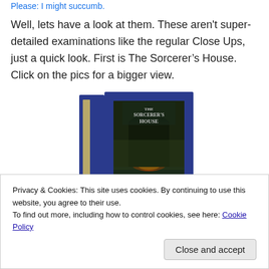Please: I might succumb.
Well, lets have a look at them.  These aren't super-detailed examinations like the regular Close Ups, just a quick look.  First is The Sorcerer's House.  Click on the pics for a bigger view.
[Figure (photo): Photo of The Sorcerer's House book in a dark blue slipcase/box, showing the spine and front cover with the book title and a dark atmospheric illustration.]
Privacy & Cookies: This site uses cookies. By continuing to use this website, you agree to their use.
To find out more, including how to control cookies, see here: Cookie Policy
Close and accept